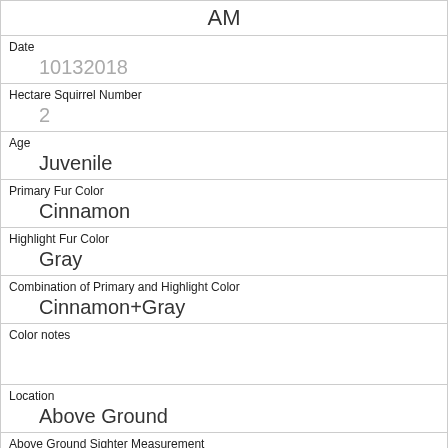| AM |
| Date | 10132018 |
| Hectare Squirrel Number | 2 |
| Age | Juvenile |
| Primary Fur Color | Cinnamon |
| Highlight Fur Color | Gray |
| Combination of Primary and Highlight Color | Cinnamon+Gray |
| Color notes |  |
| Location | Above Ground |
| Above Ground Sighter Measurement | 10 |
| Specific Location |  |